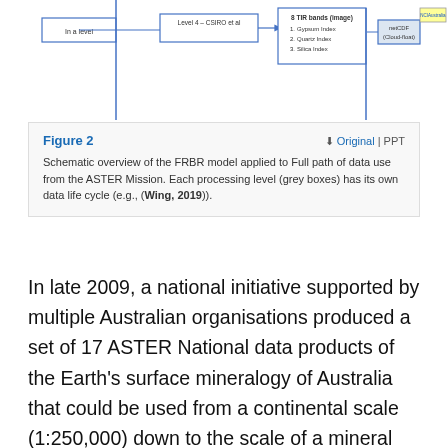[Figure (flowchart): Partial view of a schematic/flowchart diagram showing processing levels and data flow including boxes labelled 'Level 4 - CSIRO et al', '8 TIR bands (image)', items like 'Gypsum Index', 'Quartz Index', 'Silica Index', 'netCDF (Cloud-float)', and a yellow box referencing 'NCIAustralia 17 national scale netCDF items for in situ web service access and downloads'.]
Figure 2
Schematic overview of the FRBR model applied to Full path of data use from the ASTER Mission. Each processing level (grey boxes) has its own data life cycle (e.g., (Wing, 2019)).
In late 2009, a national initiative supported by multiple Australian organisations produced a set of 17 ASTER National data products of the Earth's surface mineralogy of Australia that could be used from a continental scale (1:250,000) down to the scale of a mineral prospect (1:50,000). Each of these 17 mineral maps was available in 1) Band Sequential (BSQ) image format; 2) more GIS compatible products in GeoTIFF format; and 3) an ERF file containing information for each data